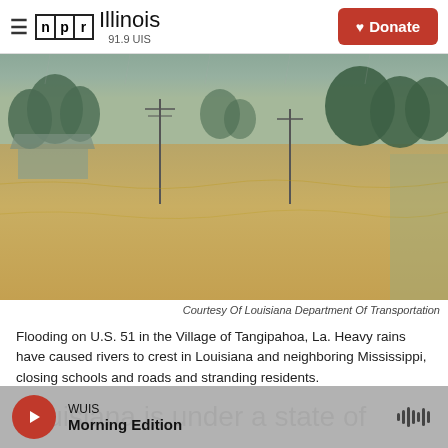NPR Illinois 91.9 UIS — Donate
[Figure (photo): Flooding on U.S. 51 in the Village of Tangipahoa, Louisiana. Brown floodwaters covering roads with utility poles and trees visible in the background during heavy rain.]
Courtesy Of Louisiana Department Of Transportation
Flooding on U.S. 51 in the Village of Tangipahoa, La. Heavy rains have caused rivers to crest in Louisiana and neighboring Mississippi, closing schools and roads and stranding residents.
Louisiana is under a state of emergency because
WUIS — Morning Edition